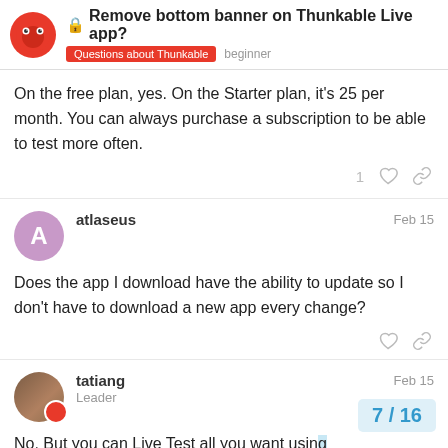Remove bottom banner on Thunkable Live app? | Questions about Thunkable | beginner
On the free plan, yes. On the Starter plan, it's 25 per month. You can always purchase a subscription to be able to test more often.
atlaseus — Feb 15 — Does the app I download have the ability to update so I don't have to download a new app every change?
tatiang — Leader — Feb 15 — No. But you can Live Test all you want using...